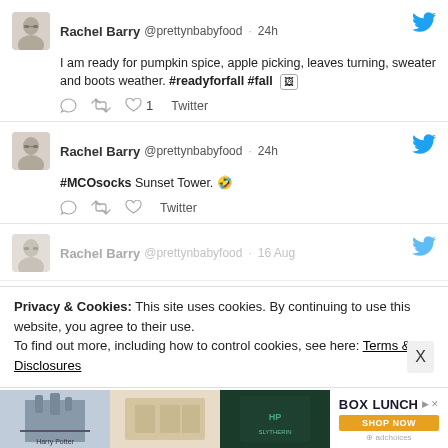[Figure (screenshot): Twitter/social media feed screenshot showing tweets by Rachel Barry (@prettynbabyfood). First tweet: 'I am ready for pumpkin spice, apple picking, leaves turning, sweater and boots weather. #readyforfall #fall [image icon]'. Second tweet: '#MCOsocks Sunset Tower. [emoji]'. Third tweet partially visible. Cookie consent banner overlays bottom portion. Advertisement banner at very bottom for BoxLunch.]